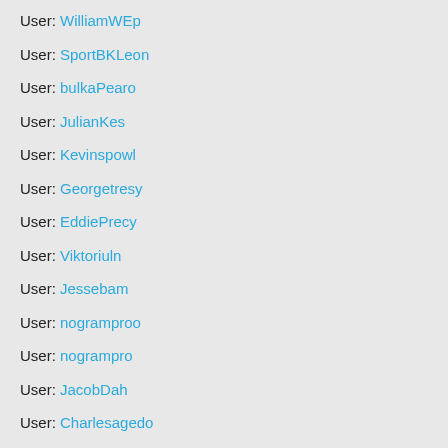User: WilliamWEp
User: SportBKLeon
User: bulkaPearo
User: JulianKes
User: Kevinspowl
User: Georgetresy
User: EddiePrecy
User: Viktoriuln
User: Jessebam
User: nogramproo
User: nogrampro
User: JacobDah
User: Charlesagedo
User: Shanehigma
User: Brianliems